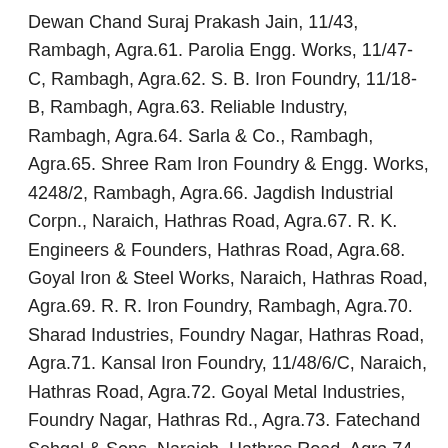Dewan Chand Suraj Prakash Jain, 11/43, Rambagh, Agra.61. Parolia Engg. Works, 11/47-C, Rambagh, Agra.62. S. B. Iron Foundry, 11/18-B, Rambagh, Agra.63. Reliable Industry, Rambagh, Agra.64. Sarla & Co., Rambagh, Agra.65. Shree Ram Iron Foundry & Engg. Works, 4248/2, Rambagh, Agra.66. Jagdish Industrial Corpn., Naraich, Hathras Road, Agra.67. R. K. Engineers & Founders, Hathras Road, Agra.68. Goyal Iron & Steel Works, Naraich, Hathras Road, Agra.69. R. R. Iron Foundry, Rambagh, Agra.70. Sharad Industries, Foundry Nagar, Hathras Road, Agra.71. Kansal Iron Foundry, 11/48/6/C, Naraich, Hathras Road, Agra.72. Goyal Metal Industries, Foundry Nagar, Hathras Rd., Agra.73. Fatechand Sehgal & Sons, Naraich, Hathras Road, Agra.74. Adesh Kumar Jain, C-69, Foundry Nagar, Agra.75.